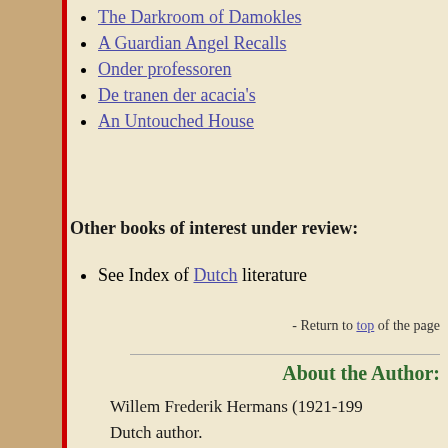The Darkroom of Damokles
A Guardian Angel Recalls
Onder professoren
De tranen der acacia's
An Untouched House
Other books of interest under review:
See Index of Dutch literature
- Return to top of the page
About the Author:
Willem Frederik Hermans (1921-1995) Dutch author.
- Return to top of the page
© 2006-2022 the complete r
Main | the New | the Best | the Rest | Revi